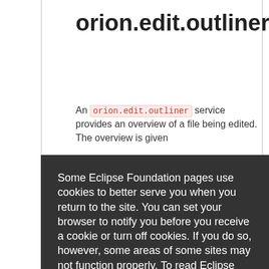orion.edit.outliner
An orion.edit.outliner service provides an overview of a file being edited. The overview is given
Some Eclipse Foundation pages use cookies to better serve you when you return to the site. You can set your browser to notify you before you receive a cookie or turn off cookies. If you do so, however, some areas of some sites may not function properly. To read Eclipse Foundation Privacy Policy click here.
Decline
Allow cookies